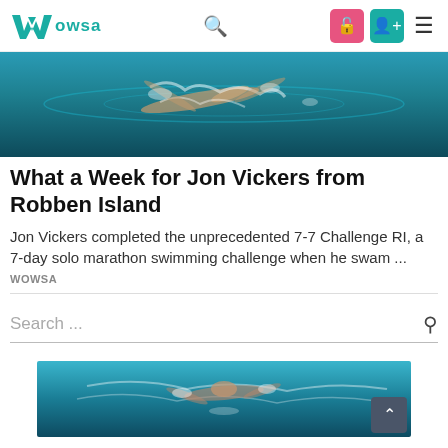WOWSA navigation bar with logo, search icon, and menu icons
[Figure (photo): Aerial view of a swimmer in open water, blue ocean with white water splashes visible]
What a Week for Jon Vickers from Robben Island
Jon Vickers completed the unprecedented 7-7 Challenge RI, a 7-day solo marathon swimming challenge when he swam ...
WOWSA
Search ...
[Figure (photo): Swimmer in open water viewed from above, blue water]